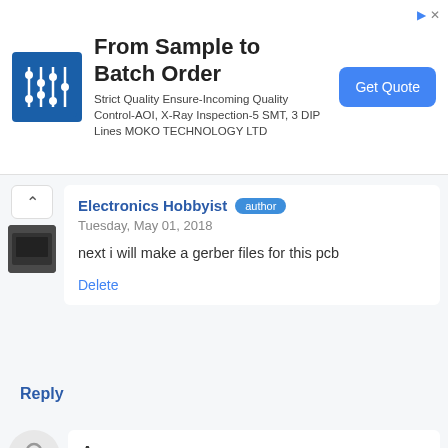[Figure (infographic): Advertisement banner: circuit board logo, heading 'From Sample to Batch Order', subtext about quality control, and a 'Get Quote' blue button]
Electronics Hobbyist author
Tuesday, May 01, 2018
next i will make a gerber files for this pcb
Delete
Reply
Anonymous
Saturday, April 21, 2018
amigo puedes pasarme el archivo en proteus?